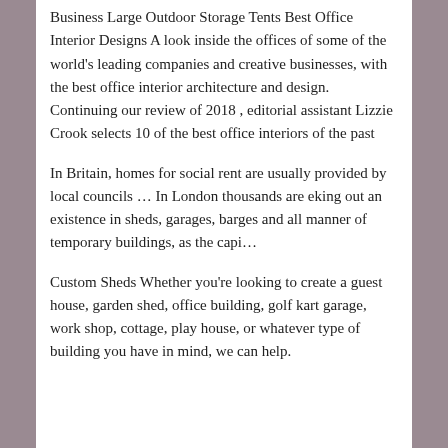Business Large Outdoor Storage Tents Best Office Interior Designs A look inside the offices of some of the world's leading companies and creative businesses, with the best office interior architecture and design. Continuing our review of 2018 , editorial assistant Lizzie Crook selects 10 of the best office interiors of the past
In Britain, homes for social rent are usually provided by local councils … In London thousands are eking out an existence in sheds, garages, barges and all manner of temporary buildings, as the capi…
Custom Sheds Whether you're looking to create a guest house, garden shed, office building, golf kart garage, work shop, cottage, play house, or whatever type of building you have in mind, we can help.